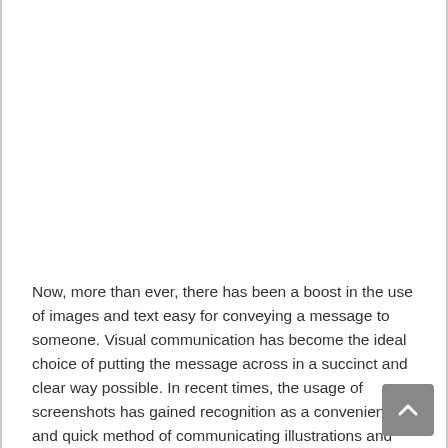Now, more than ever, there has been a boost in the use of images and text easy for conveying a message to someone. Visual communication has become the ideal choice of putting the message across in a succinct and clear way possible. In recent times, the usage of screenshots has gained recognition as a convenient and quick method of communicating illustrations and ideas.